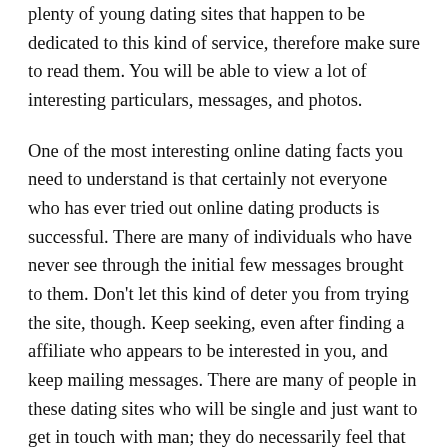plenty of young dating sites that happen to be dedicated to this kind of service, therefore make sure to read them. You will be able to view a lot of interesting particulars, messages, and photos.
One of the most interesting online dating facts you need to understand is that certainly not everyone who has ever tried out online dating products is successful. There are many of individuals who have never see through the initial few messages brought to them. Don't let this kind of deter you from trying the site, though. Keep seeking, even after finding a affiliate who appears to be interested in you, and keep mailing messages. There are many of people in these dating sites who will be single and just want to get in touch with man; they do necessarily feel that they should devote themselves to anyone every time they don't know the face yet.